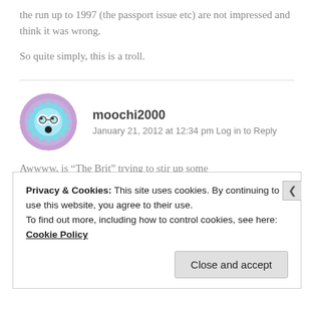the run up to 1997 (the passport issue etc) are not impressed and think it was wrong.
So quite simply, this is a troll.
moochi2000
January 21, 2012 at 12:34 pm Log in to Reply
Awwww, is “The Brit” trying to stir up some
Privacy & Cookies: This site uses cookies. By continuing to use this website, you agree to their use.
To find out more, including how to control cookies, see here: Cookie Policy